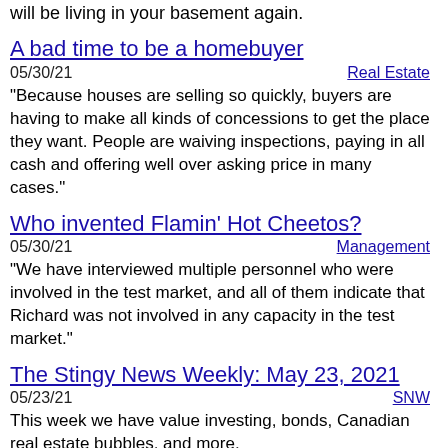will be living in your basement again.
A bad time to be a homebuyer
05/30/21	Real Estate
"Because houses are selling so quickly, buyers are having to make all kinds of concessions to get the place they want. People are waiving inspections, paying in all cash and offering well over asking price in many cases."
Who invented Flamin' Hot Cheetos?
05/30/21	Management
"We have interviewed multiple personnel who were involved in the test market, and all of them indicate that Richard was not involved in any capacity in the test market."
The Stingy News Weekly: May 23, 2021
05/23/21	SNW
This week we have value investing, bonds, Canadian real estate bubbles, and more.
Value's turn